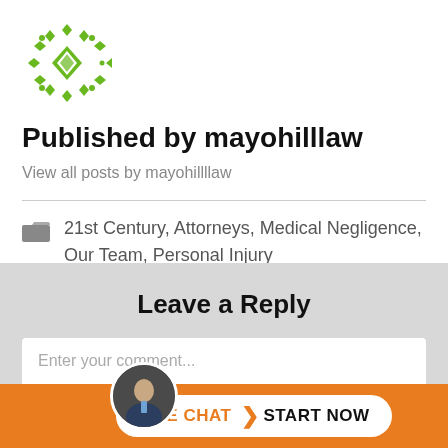[Figure (logo): Green geometric diamond/lattice pattern logo for mayohilllaw]
Published by mayohilllaw
View all posts by mayohillllaw
21st Century, Attorneys, Medical Negligence, Our Team, Personal Injury
Leave a Reply
Enter your comment...
[Figure (screenshot): Live chat bar with attorney photo avatar and pill button reading LIVE CHAT START NOW on orange background]